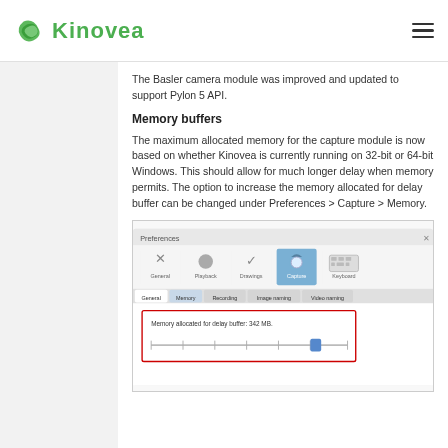Kinovea
The Basler camera module was improved and updated to support Pylon 5 API.
Memory buffers
The maximum allocated memory for the capture module is now based on whether Kinovea is currently running on 32-bit or 64-bit Windows. This should allow for much longer delay when memory permits. The option to increase the memory allocated for delay buffer can be changed under Preferences > Capture > Memory.
[Figure (screenshot): Kinovea Preferences dialog showing the Capture > Memory tab with a slider for 'Memory allocated for delay buffer: 342 MB']